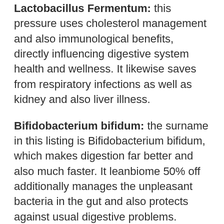Lactobacillus Fermentum: this pressure uses cholesterol management and also immunological benefits, directly influencing digestive system health and wellness. It likewise saves from respiratory infections as well as kidney and also liver illness.
Bifidobacterium bifidum: the surname in this listing is Bifidobacterium bifidum, which makes digestion far better and also much faster. It leanbiome 50% off additionally manages the unpleasant bacteria in the gut and also protects against usual digestive problems.
Inulin: This component is prebiotic, which controls defecation and also aids in digestion. Without inulin, troubles such as windiness, irregular bowel